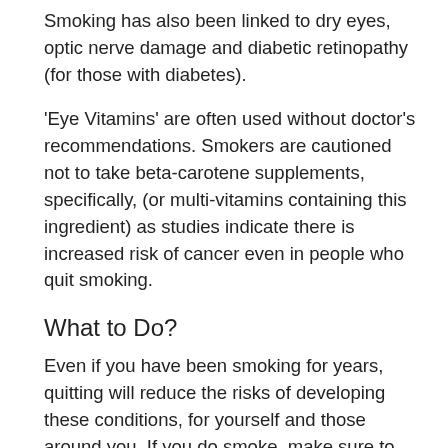Smoking has also been linked to dry eyes, optic nerve damage and diabetic retinopathy (for those with diabetes).
'Eye Vitamins' are often used without doctor's recommendations. Smokers are cautioned not to take beta-carotene supplements, specifically, (or multi-vitamins containing this ingredient) as studies indicate there is increased risk of cancer even in people who quit smoking.
What to Do?
Even if you have been smoking for years, quitting will reduce the risks of developing these conditions, for yourself and those around you. If you do smoke, make sure to schedule a comprehensive eye exam every year to catch any developing disease early. Early diagnosis and treatment can be the key to saving your